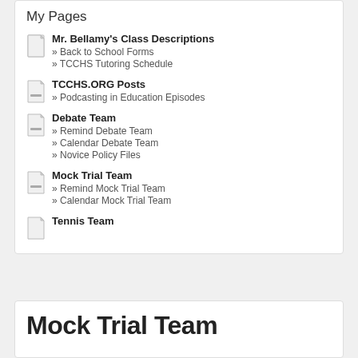My Pages
Mr. Bellamy's Class Descriptions
Back to School Forms
TCCHS Tutoring Schedule
TCCHS.ORG Posts
Podcasting in Education Episodes
Debate Team
Remind Debate Team
Calendar Debate Team
Novice Policy Files
Mock Trial Team
Remind Mock Trial Team
Calendar Mock Trial Team
Tennis Team
Mock Trial Team